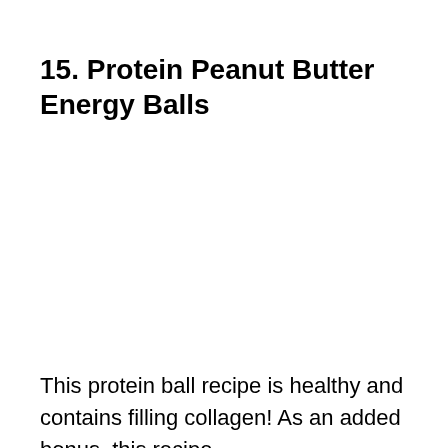15. Protein Peanut Butter Energy Balls
This protein ball recipe is healthy and contains filling collagen! As an added bonus, this recipe